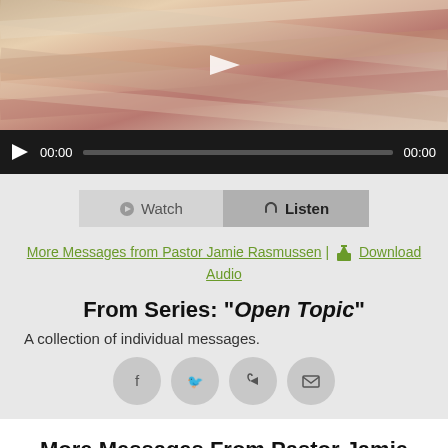[Figure (screenshot): Video thumbnail showing colorful blurred diagonal lines, with a dark video player control bar showing a play button, time display 00:00, progress bar, and end time 00:00]
[Figure (screenshot): Watch and Listen toggle buttons, Watch is lighter grey, Listen is darker grey with headphone icon]
More Messages from Pastor Jamie Rasmussen | Download Audio
From Series: "Open Topic"
A collection of individual messages.
[Figure (infographic): Row of four social sharing circular icon buttons: Facebook, Twitter, Share/Forward, Email]
More Messages From Pastor Jamie Rasmussen...